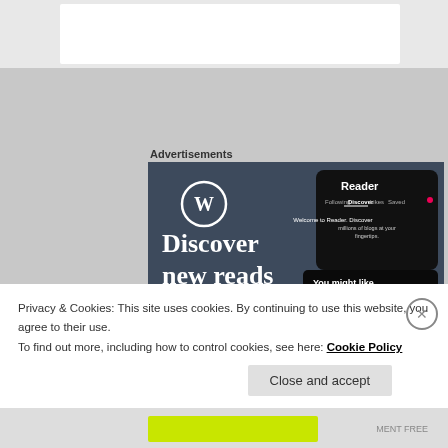Advertisements
[Figure (screenshot): WordPress app advertisement showing 'Discover new reads on the go.' with WordPress logo, Reader interface screenshot, and 'GET THE APP' call to action on dark blue background.]
Privacy & Cookies: This site uses cookies. By continuing to use this website, you agree to their use.
To find out more, including how to control cookies, see here: Cookie Policy
Close and accept